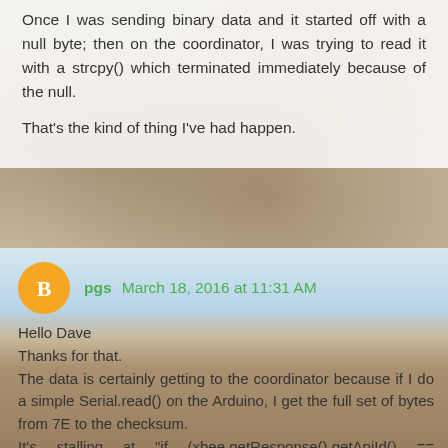Once I was sending binary data and it started off with a null byte; then on the coordinator, I was trying to read it with a strcpy() which terminated immediately because of the null.

That's the kind of thing I've had happen.
pgs March 18, 2016 at 11:31 AM
Hello Dave
Thanks for that.
The data is certainly getting to the coordinator because if I do a simple Serial.read() on the Arduino, I get the full set of bytes from 7E to the checksum.
It's stalling at "if (xbee.getResponse().getApiId() == ZB_RX_RESPONSE) {", which must be returning a FALSE.
All my frames are 0x92 in Native mode or 0x91 in explicit.
I'm not familiar with AR's library and haven't had a chance to understand or see what the stalling